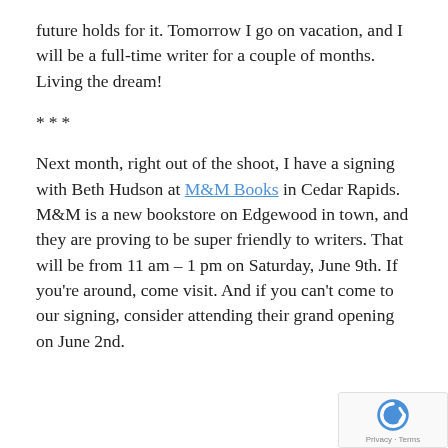future holds for it. Tomorrow I go on vacation, and I will be a full-time writer for a couple of months. Living the dream!
***
Next month, right out of the shoot, I have a signing with Beth Hudson at M&M Books in Cedar Rapids. M&M is a new bookstore on Edgewood in town, and they are proving to be super friendly to writers. That will be from 11 am – 1 pm on Saturday, June 9th. If you're around, come visit. And if you can't come to our signing, consider attending their grand opening on June 2nd.